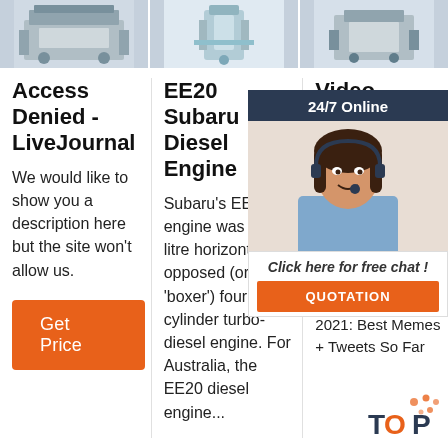[Figure (photo): Three product/machinery images in a horizontal strip at the top of the page]
Access Denied - LiveJournal
We would like to show you a description here but the site won't allow us.
Get Price
EE20 Subaru Diesel Engine
Subaru's EE20 engine was a 2.0-litre horizontally-opposed (or 'boxer') four-cylinder turbo-diesel engine. For Australia, the EE20 diesel engine...
Video Archives
Ch... be... co... Sh... Th... Ca... Th... (8/12) Emmys 2021: Best Memes + Tweets So Far
[Figure (photo): 24/7 Online customer service chat popup with a woman wearing a headset, with a 'Click here for free chat!' button and orange QUOTATION button]
[Figure (logo): TOP logo with orange dots]